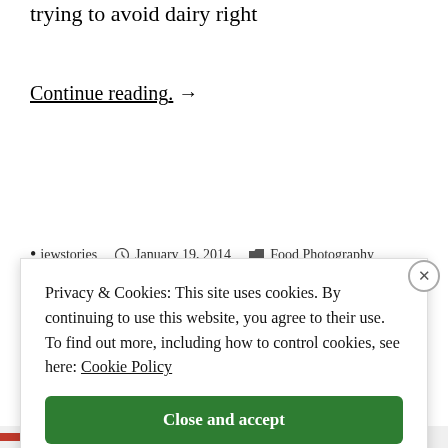trying to avoid dairy right
Continue reading. →
• jewstories  🕐 January 19, 2014  📁 Food Photography
Privacy & Cookies: This site uses cookies. By continuing to use this website, you agree to their use.
To find out more, including how to control cookies, see here: Cookie Policy
Close and accept